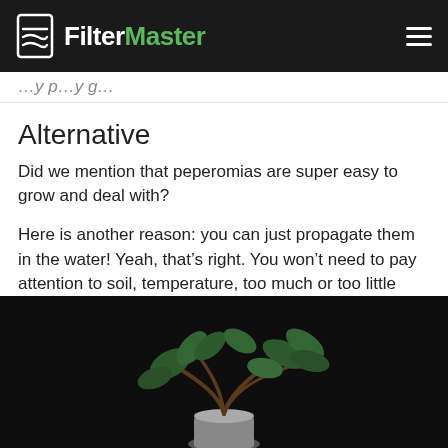FilterMaster
…y p…y g…
Alternative
Did we mention that peperomias are super easy to grow and deal with?
Here is another reason: you can just propagate them in the water! Yeah, that’s right. You won’t need to pay attention to soil, temperature, too much or too little watering, and so on.
[Figure (photo): A peperomia plant with dark green leaves in a white pot against a black background]